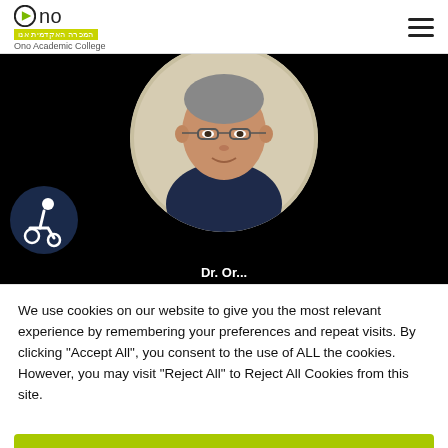Ono Academic College
[Figure (photo): Profile photo of a man in a navy polo shirt, circular crop, on dark background. Wheelchair accessibility icon visible on left side. Partial text at bottom reads 'Dr. Or...']
We use cookies on our website to give you the most relevant experience by remembering your preferences and repeat visits. By clicking "Accept All", you consent to the use of ALL the cookies. However, you may visit "Reject All" to Reject All Cookies from this site.
Let's meet